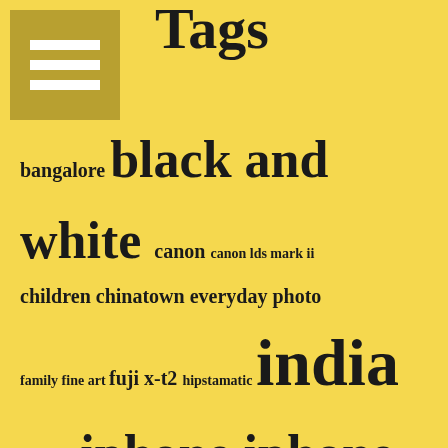Tags
bangalore black and white canon canon lds mark ii children chinatown everyday photo family fine art fuji x-t2 hipstamatic india indonesia iphone iphone 4s iphoneographer landscape leaf leica 35mm summarit leica m9 marina bay mobile photographer mobile photography nature night photography olympus olympus e-p3 olympus om-1n panasonic gf1 panorama people philippines portrait singapore street